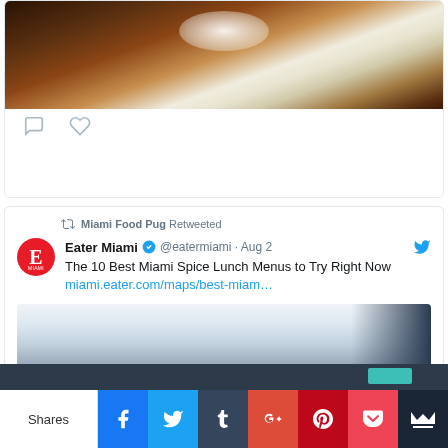[Figure (screenshot): Cropped food photo showing a chocolate dessert with powdered sugar, part of a tweet card]
[Figure (screenshot): Social media tweet: Miami Food Pug retweeted Eater Miami (@eatermiami) on Aug 2: 'The 10 Best Miami Spice Lunch Menus to Try Right Now miami.eater.com/maps/best-miam...' with a restaurant interior photo]
#InstaMFP
[Figure (screenshot): Social share bar at bottom with Shares label and Facebook, Twitter, Tumblr, Google+, Pinterest, Pocket, and crown icons]